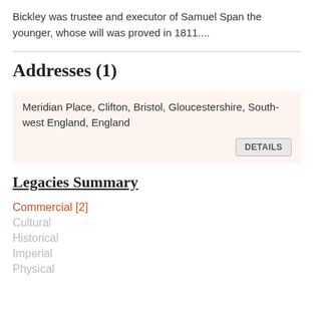Bickley was trustee and executor of Samuel Span the younger, whose will was proved in 1811....
Addresses (1)
Meridian Place, Clifton, Bristol, Gloucestershire, South-west England, England
Legacies Summary
Commercial [2]
Cultural
Historical
Imperial
Physical